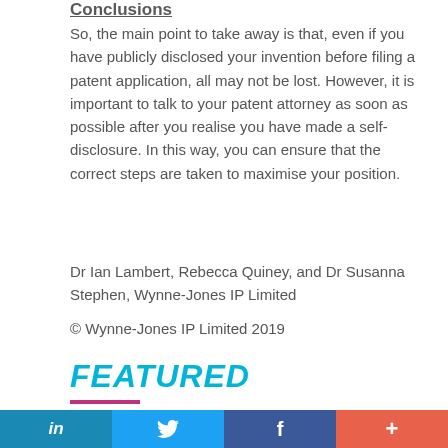Conclusions
So, the main point to take away is that, even if you have publicly disclosed your invention before filing a patent application, all may not be lost. However, it is important to talk to your patent attorney as soon as possible after you realise you have made a self-disclosure. In this way, you can ensure that the correct steps are taken to maximise your position.
Dr Ian Lambert, Rebecca Quiney, and Dr Susanna Stephen, Wynne-Jones IP Limited
© Wynne-Jones IP Limited 2019
FEATURED
[Figure (photo): Partial view of a photograph showing electronic wiring/components, dark background with colourful cables visible]
in  |  Twitter bird icon  |  f  |  +